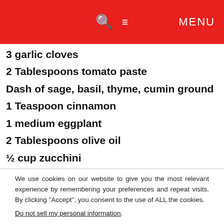🔍 ≡ MENU
3 garlic cloves
2 Tablespoons tomato paste
Dash of sage, basil, thyme, cumin ground
1 Teaspoon cinnamon
1 medium eggplant
2 Tablespoons olive oil
½ cup zucchini
We use cookies on our website to give you the most relevant experience by remembering your preferences and repeat visits. By clicking "Accept", you consent to the use of ALL the cookies.
Do not sell my personal information.
Cookie Settings  Accept